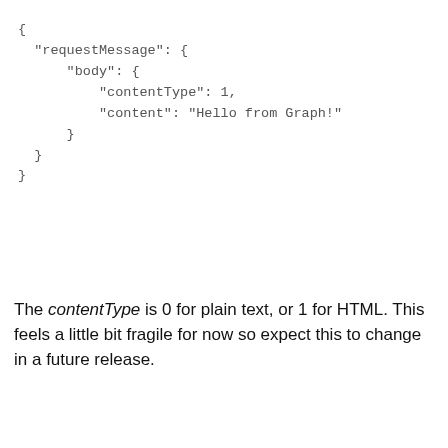{
  "requestMessage": {
      "body": {
          "contentType": 1,
          "content": "Hello from Graph!"
      }
  }
}
The contentType is 0 for plain text, or 1 for HTML. This feels a little bit fragile for now so expect this to change in a future release.
And, here’s that message in the Teams client:
We use cookies on our website to give you the most relevant experience by remembering your preferences and repeat visits. By clicking “Accept”, you consent to the use of ALL the cookies.
Cookie settings
ACCEPT